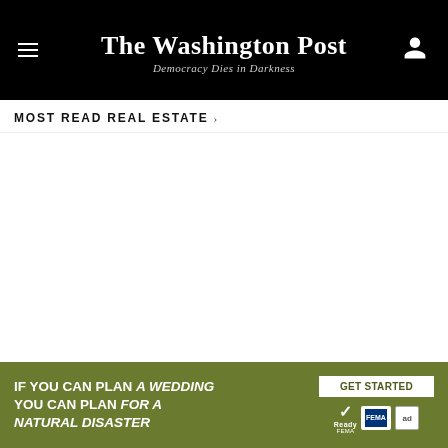The Washington Post — Democracy Dies in Darkness
MOST READ REAL ESTATE
Which is more accurate: Zillow's Zestimate or Redfin's Estimate?
[Figure (advertisement): Green advertisement banner: 'IF YOU CAN PLAN A WEDDING YOU CAN PLAN FOR A NATURAL DISASTER' with GET STARTED button and Ready/FEMA logos]